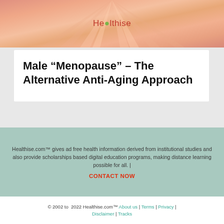[Figure (photo): Close-up photo of skin texture with warm pinkish-orange tones, with Healthise logo overlay in the center]
Male “Menopause” – The Alternative Anti-Aging Approach
Healthise.com™ gives ad free health information derived from institutional studies and also provide scholarships based digital education programs, making distance learning possible for all.  |
CONTACT NOW
© 2002 to  2022 Healthise.com™ About us | Terms | Privacy | Disclaimer | Tracks